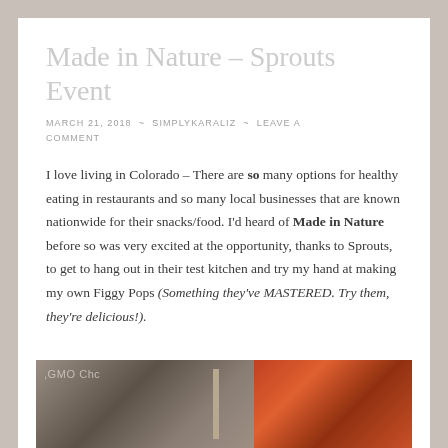Made in Nature – Sprouts Event
MARCH 21, 2018 ~ SIMPLYKARALIZ ~ LEAVE A COMMENT
I love living in Colorado – There are SO many options for healthy eating in restaurants and so many local businesses that are known nationwide for their snacks/food. I'd heard of Made in Nature before so was very excited at the opportunity, thanks to Sprouts, to get to hang out in their test kitchen and try my hand at making my own Figgy Pops (Something they've MASTERED. Try them, they're delicious!).
[Figure (photo): Photo showing a kitchen or event space, partially visible with text and colorful packaging on the right side]